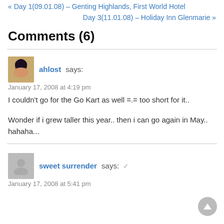« Day 1(09.01.08) – Genting Highlands, First World Hotel
Day 3(11.01.08) – Holiday Inn Glenmarie »
Comments (6)
ahlost says:
January 17, 2008 at 4:19 pm

I couldn't go for the Go Kart as well =.= too short for it..

Wonder if i grew taller this year.. then i can go again in May.. hahaha...
sweet surrender says: ✓
January 17, 2008 at 5:41 pm